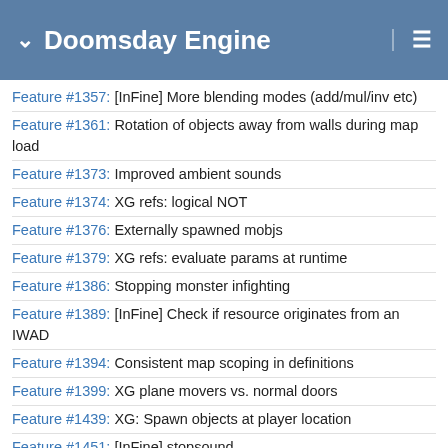Doomsday Engine
Feature #1357: [InFine] More blending modes (add/mul/inv etc)
Feature #1361: Rotation of objects away from walls during map load
Feature #1373: Improved ambient sounds
Feature #1374: XG refs: logical NOT
Feature #1376: Externally spawned mobjs
Feature #1379: XG refs: evaluate params at runtime
Feature #1386: Stopping monster infighting
Feature #1389: [InFine] Check if resource originates from an IWAD
Feature #1394: Consistent map scoping in definitions
Feature #1399: XG plane movers vs. normal doors
Feature #1439: XG: Spawn objects at player location
Feature #1451: [InFine] stopsound
Feature #1459: Replacement of MT_POD unique behavior with flag
Feature #1460: Remember the playing music in save game
Feature #1461: Separate chain/event derived/driven behaviour for XG
Feature #1465: [XG] "Player needs object X" message